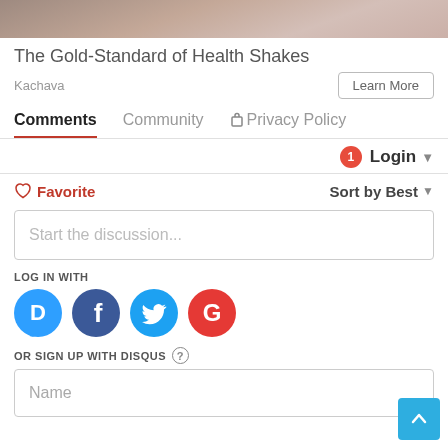[Figure (photo): Partial view of a person, cropped at top of page]
The Gold-Standard of Health Shakes
Kachava
Learn More
Comments   Community   🔒 Privacy Policy
🔔1   Login ▾
♡ Favorite   Sort by Best ▾
Start the discussion...
LOG IN WITH
[Figure (logo): Disqus, Facebook, Twitter, Google login icons]
OR SIGN UP WITH DISQUS ?
Name